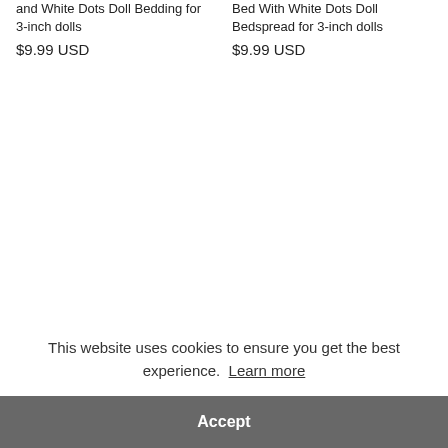and White Dots Doll Bedding for 3-inch dolls
$9.99 USD
Bed With White Dots Doll Bedspread for 3-inch dolls
$9.99 USD
This website uses cookies to ensure you get the best experience. Learn more
Accept